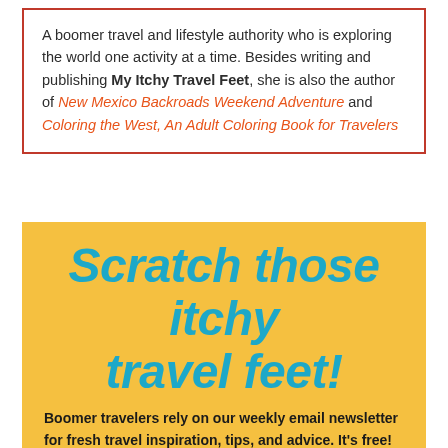A boomer travel and lifestyle authority who is exploring the world one activity at a time. Besides writing and publishing My Itchy Travel Feet, she is also the author of New Mexico Backroads Weekend Adventure and Coloring the West, An Adult Coloring Book for Travelers
Scratch those itchy travel feet!
Boomer travelers rely on our weekly email newsletter for fresh travel inspiration, tips, and advice. It's free! No spam, unsubscribe anytime.
FIRST NAME